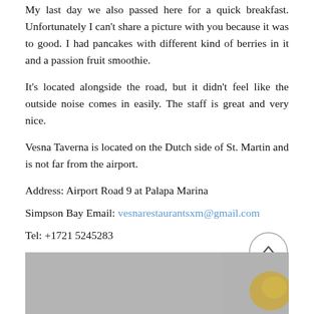My last day we also passed here for a quick breakfast. Unfortunately I can't share a picture with you because it was to good. I had pancakes with different kind of berries in it and a passion fruit smoothie.
It's located alongside the road, but it didn't feel like the outside noise comes in easily. The staff is great and very nice.
Vesna Taverna is located on the Dutch side of St. Martin and is not far from the airport.
Address: Airport Road 9 at Palapa Marina
Simpson Bay Email: vesnarestaurantsxm@gmail.com
Tel: +1721 5245283
Website: www.vesnataverna.com
[Figure (photo): Bottom portion of a photo showing a textured gray surface with a golden/yellow object visible at the right edge.]